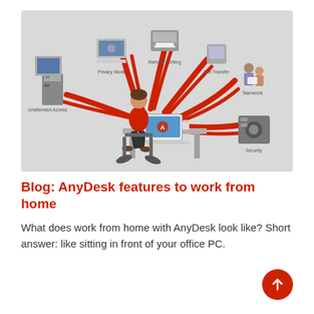[Figure (infographic): AnyDesk remote desktop infographic showing a person sitting at a desk with a laptop, with red curved arrows radiating outward to various features: Unattended Access (desktop tower), Privacy Mode (monitor with keyboard), Remote Printing (printer), File Transfer (cloud/drive device), Teamwork (people collaborating), and Security (safe/vault). Background is light grey.]
Blog: AnyDesk features to work from home
What does work from home with AnyDesk look like? Short answer: like sitting in front of your office PC.